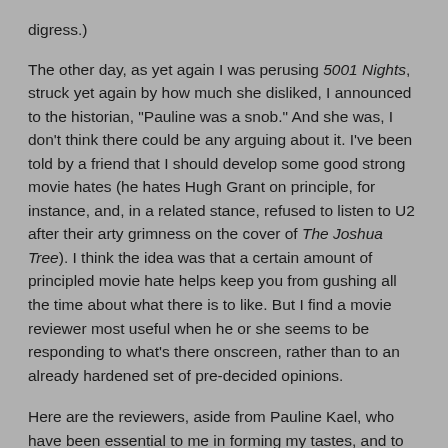digress.)
The other day, as yet again I was perusing 5001 Nights, struck yet again by how much she disliked, I announced to the historian, "Pauline was a snob." And she was, I don't think there could be any arguing about it. I've been told by a friend that I should develop some good strong movie hates (he hates Hugh Grant on principle, for instance, and, in a related stance, refused to listen to U2 after their arty grimness on the cover of The Joshua Tree). I think the idea was that a certain amount of principled movie hate helps keep you from gushing all the time about what there is to like. But I find a movie reviewer most useful when he or she seems to be responding to what's there onscreen, rather than to an already hardened set of pre-decided opinions.
Here are the reviewers, aside from Pauline Kael, who have been essential to me in forming my tastes, and to whom I routinely return for commentary:
Stuart Klawans, of The Nation